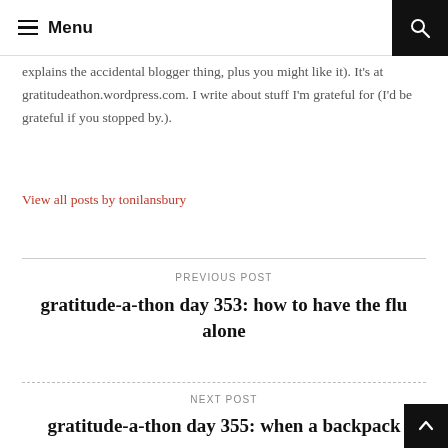Menu
explains the accidental blogger thing, plus you might like it). It's at gratitudeathon.wordpress.com. I write about stuff I'm grateful for (I'd be grateful if you stopped by.).
View all posts by tonilansbury
PREVIOUS POST
gratitude-a-thon day 353: how to have the flu alone
NEXT POST
gratitude-a-thon day 355: when a backpack